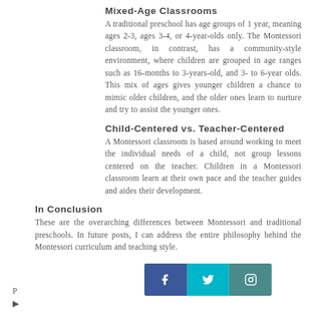Mixed-Age Classrooms
A traditional preschool has age groups of 1 year, meaning ages 2-3, ages 3-4, or 4-year-olds only. The Montessori classroom, in contrast, has a community-style environment, where children are grouped in age ranges such as 16-months to 3-years-old, and 3- to 6-year olds. This mix of ages gives younger children a chance to mimic older children, and the older ones learn to nurture and try to assist the younger ones.
Child-Centered vs. Teacher-Centered
A Montessori classroom is based around working to meet the individual needs of a child, not group lessons centered on the teacher. Children in a Montessori classroom learn at their own pace and the teacher guides and aides their development.
In Conclusion
These are the overarching differences between Montessori and traditional preschools. In future posts, I can address the entire philosophy behind the Montessori curriculum and teaching style.
[Figure (infographic): Social media sharing bar with Facebook, Twitter, and Instagram icons]